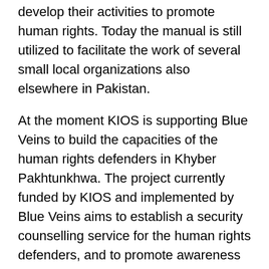develop their activities to promote human rights. Today the manual is still utilized to facilitate the work of several small local organizations also elsewhere in Pakistan.
At the moment KIOS is supporting Blue Veins to build the capacities of the human rights defenders in Khyber Pakhtunkhwa. The project currently funded by KIOS and implemented by Blue Veins aims to establish a security counselling service for the human rights defenders, and to promote awareness on the human rights mechanisms of the United Nations. By helping the human rights defenders to do their work and strengthening the bonds of civil society, Blue Veins is creating preconditions for the development of a democratic and just society in one of the most unstable areas of the world.